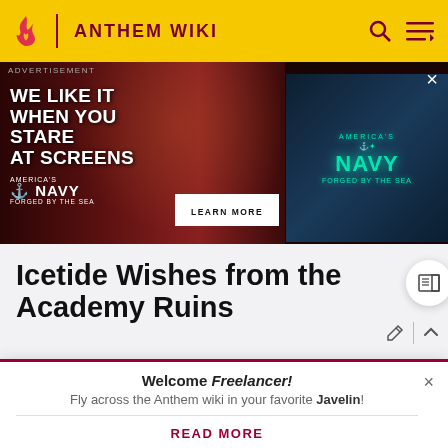ANTHEM WIKI
[Figure (screenshot): US Navy advertisement banner: 'WE LIKE IT WHEN YOU STARE AT SCREENS' with America's Navy Forged by the Sea branding, showing a woman looking at screens and a Navy screen display. Includes a LEARN MORE button.]
Icetide Wishes from the Academy Ruins
See Cortex Entry: Icetide Wishes from the Academy Ruins
Welcome Freelancer!
Fly across the Anthem wiki in your favorite Javelin!
READ MORE